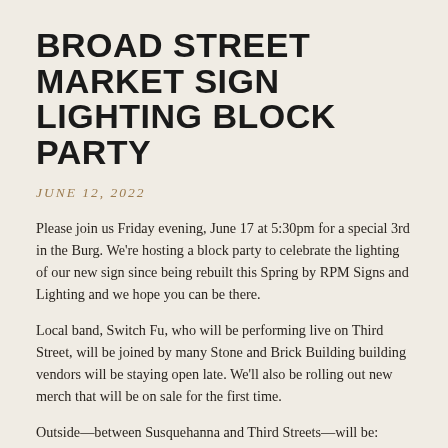BROAD STREET MARKET SIGN LIGHTING BLOCK PARTY
JUNE 12, 2022
Please join us Friday evening, June 17 at 5:30pm for a special 3rd in the Burg. We're hosting a block party to celebrate the lighting of our new sign since being rebuilt this Spring by RPM Signs and Lighting and we hope you can be there.
Local band, Switch Fu, who will be performing live on Third Street, will be joined by many Stone and Brick Building building vendors will be staying open late. We'll also be rolling out new merch that will be on sale for the first time.
Outside—between Susquehanna and Third Streets—will be: